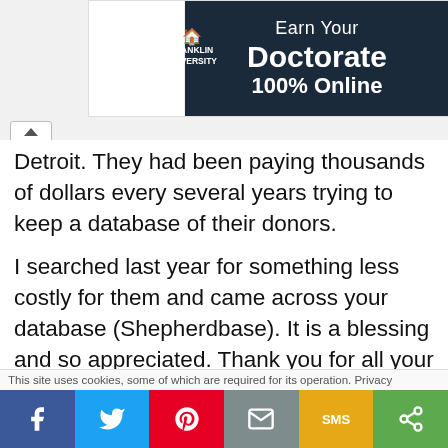[Figure (screenshot): Franklin University advertisement banner: white box on left, dark navy background on right with text 'Earn Your Doctorate 100% Online' and Franklin University logo]
Detroit. They had been paying thousands of dollars every several years trying to keep a database of their donors.
I searched last year for something less costly for them and came across your database (Shepherdbase). It is a blessing and so appreciated. Thank you for all your hard work and thank you for Giving To The Lord. Peacemakers Int. in Detroit on Chene street is another ministry you have blessed. - Charlene - U.S. *Disclaimer
This site uses cookies, some of which are required for its operation. Privacy
[Figure (infographic): Social sharing bar with 6 buttons: Facebook (blue, f), Twitter (light blue, bird), Pinterest (red, P), Email (gray, envelope), SMS (yellow, SMS), Share (green, share icon)]